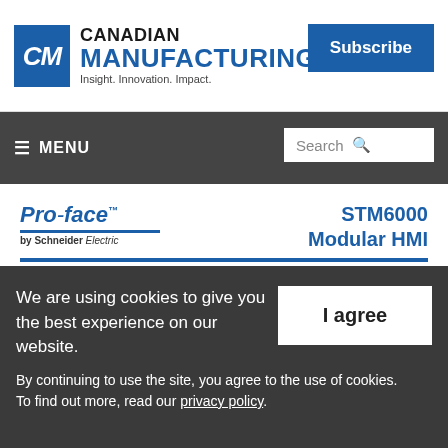[Figure (logo): Canadian Manufacturing logo with CM icon in blue box and 'Insight. Innovation. Impact.' tagline, plus Subscribe button]
≡ MENU    Search
[Figure (infographic): Pro-face by Schneider Electric advertisement for STM6000 Modular HMI featuring 22mm Install headline with bullet points: Install with 22mm Hole Mount, Connect with multiple PLCs, 4" and 7" Display Options]
We are using cookies to give you the best experience on our website. By continuing to use the site, you agree to the use of cookies. To find out more, read our privacy policy.